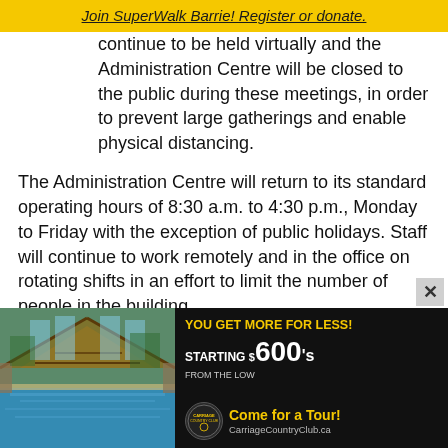Join SuperWalk Barrie! Register or donate.
continue to be held virtually and the Administration Centre will be closed to the public during these meetings, in order to prevent large gatherings and enable physical distancing.
The Administration Centre will return to its standard operating hours of 8:30 a.m. to 4:30 p.m., Monday to Friday with the exception of public holidays. Staff will continue to work remotely and in the office on rotating shifts in an effort to limit the number of people in the building.
Anyone wishing to visit the Administration Centre is
[Figure (advertisement): Carriage Country Club advertisement showing indoor pool photo on left, gold text 'YOU GET MORE FOR LESS! STARTING $600's FROM THE LOW' on dark background on right, with 'Come for a Tour! CarriageCountryClub.ca' at bottom right with logo.]